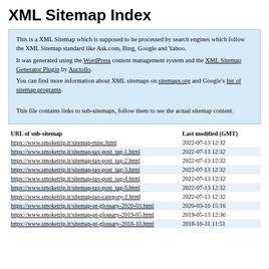XML Sitemap Index
This is a XML Sitemap which is supposed to be processed by search engines which follow the XML Sitemap standard like Ask.com, Bing, Google and Yahoo.
It was generated using the WordPress content management system and the XML Sitemap Generator Plugin by Auctollo.
You can find more information about XML sitemaps on sitemaps.org and Google's list of sitemap programs.

This file contains links to sub-sitemaps, follow them to see the actual sitemap content.
| URL of sub-sitemap | Last modified (GMT) |
| --- | --- |
| https://www.smoketrip.it/sitemap-misc.html | 2022-07-13 12:32 |
| https://www.smoketrip.it/sitemap-tax-post_tag-1.html | 2022-07-13 12:32 |
| https://www.smoketrip.it/sitemap-tax-post_tag-2.html | 2022-07-13 12:32 |
| https://www.smoketrip.it/sitemap-tax-post_tag-3.html | 2022-07-13 12:32 |
| https://www.smoketrip.it/sitemap-tax-post_tag-4.html | 2022-07-13 12:32 |
| https://www.smoketrip.it/sitemap-tax-post_tag-5.html | 2022-07-13 12:32 |
| https://www.smoketrip.it/sitemap-tax-category-1.html | 2022-07-13 12:32 |
| https://www.smoketrip.it/sitemap-pt-glossary-2020-03.html | 2020-03-10 15:16 |
| https://www.smoketrip.it/sitemap-pt-glossary-2019-05.html | 2019-05-13 12:36 |
| https://www.smoketrip.it/sitemap-pt-glossary-2018-10.html | 2018-10-31 11:51 |